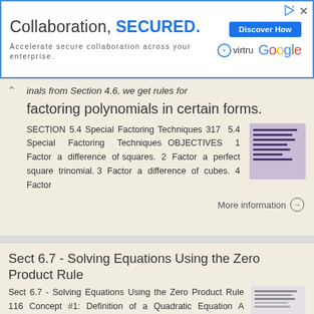[Figure (screenshot): Advertisement banner: 'Collaboration, SECURED. Accelerate secure collaboration across your enterprise.' with Discover How button, Virtru and Google logos]
inals from Section 4.6, we get rules for factoring polynomials in certain forms.
SECTION 5.4 Special Factoring Techniques 317 5.4 Special Factoring Techniques OBJECTIVES 1 Factor a difference of squares. 2 Factor a perfect square trinomial. 3 Factor a difference of cubes. 4 Factor
More information →
Sect 6.7 - Solving Equations Using the Zero Product Rule
Sect 6.7 - Solving Equations Using the Zero Product Rule 116 Concept #1: Definition of a Quadratic Equation A quadratic equation is an equation that can be written in the form ax 2 + bx + c = 0 (referred